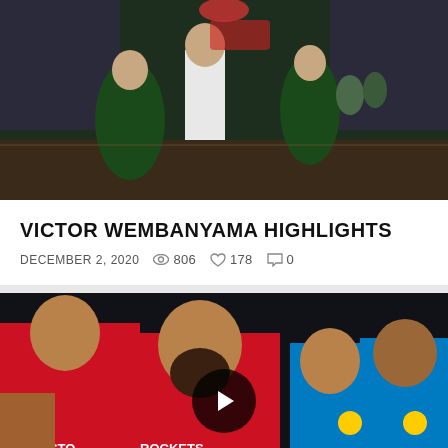[Figure (photo): Basketball game action photo showing players in green and white uniforms on an indoor court]
VICTOR WEMBANYAMA HIGHLIGHTS
DECEMBER 2, 2020  806  178  0
[Figure (photo): Composite photo of Houston Rockets players (#17 and #13 James Harden) and OKC Thunder players (#3 Chris Paul) with a play button overlay]